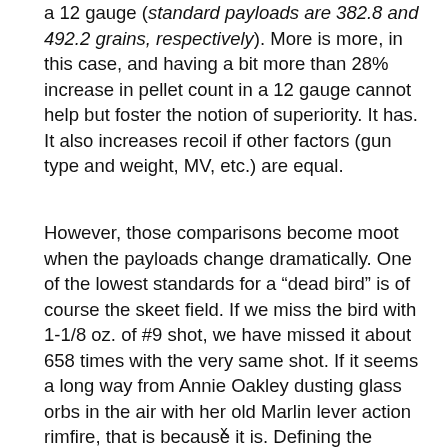a 12 gauge (standard payloads are 382.8 and 492.2 grains, respectively). More is more, in this case, and having a bit more than 28% increase in pellet count in a 12 gauge cannot help but foster the notion of superiority. It has. It also increases recoil if other factors (gun type and weight, MV, etc.) are equal.
However, those comparisons become moot when the payloads change dramatically. One of the lowest standards for a “dead bird” is of course the skeet field. If we miss the bird with 1-1/8 oz. of #9 shot, we have missed it about 658 times with the very same shot. If it seems a long way from Annie Oakley dusting glass orbs in the air with her old Marlin lever action rimfire, that is because it is. Defining the suitability of a gun for clays has a lot to do with the “fun factor.” There are “serious shooters” (who usually have money on the line) and those that are serious about
x